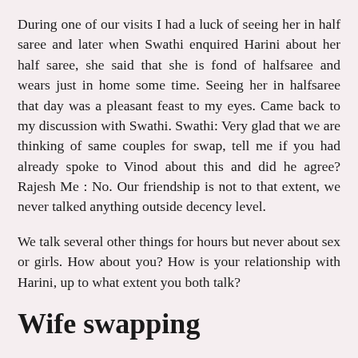During one of our visits I had a luck of seeing her in half saree and later when Swathi enquired Harini about her half saree, she said that she is fond of halfsaree and wears just in home some time. Seeing her in halfsaree that day was a pleasant feast to my eyes. Came back to my discussion with Swathi. Swathi: Very glad that we are thinking of same couples for swap, tell me if you had already spoke to Vinod about this and did he agree? Rajesh Me : No. Our friendship is not to that extent, we never talked anything outside decency level.
We talk several other things for hours but never about sex or girls. How about you? How is your relationship with Harini, up to what extent you both talk?
Wife swapping